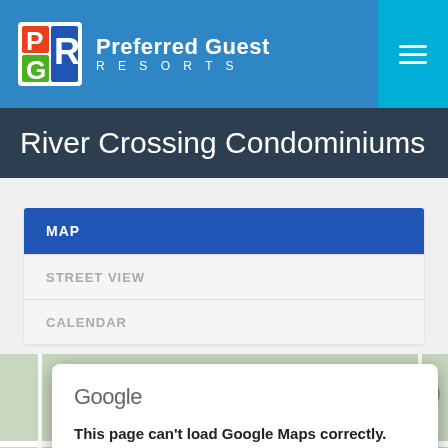[Figure (logo): Preferred Guest Resorts logo with PGR colorful square icon and text]
River Crossing Condominiums
MAP
STREET VIEW
CALENDAR
[Figure (screenshot): Google Maps embed area showing a map background with a Google error dialog reading 'This page can't load Google Maps correctly.' and a prompt 'Do you own this website?' with an OK button. A road label 'TITANIC Museum' is visible at the bottom of the map.]